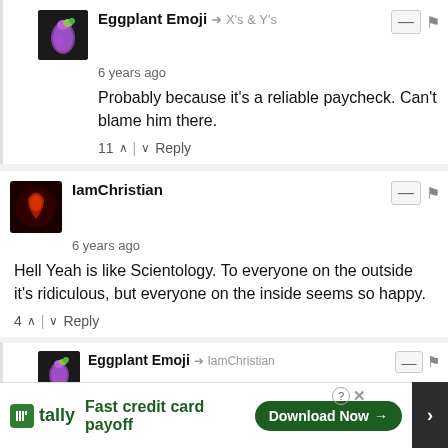Eggplant Emoji → X's & Y's
6 years ago
Probably because it's a reliable paycheck. Can't blame him there.
11 ↑ | ↓ Reply
IamChristian
6 years ago
Hell Yeah is like Scientology. To everyone on the outside it's ridiculous, but everyone on the inside seems so happy.
4 ↑ | ↓ Reply
Eggplant Emoji → IamChristian
6 years ago
Also like HELLYEAH, Scientology sucks talent into its gaping maw. See: Beck and Bart Simpson herself, Nancy Cartwright.
1 ↑ | ↓ Reply
[Figure (screenshot): Tally advertisement banner: Fast credit card payoff with Download Now button]